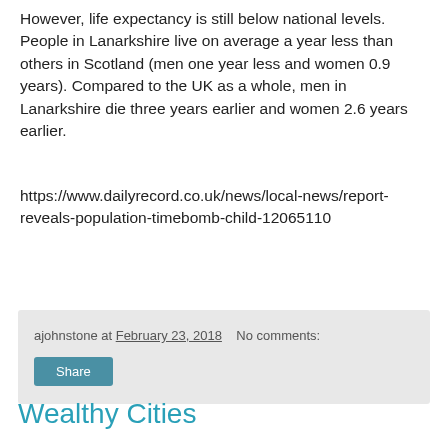However, life expectancy is still below national levels. People in Lanarkshire live on average a year less than others in Scotland (men one year less and women 0.9 years). Compared to the UK as a whole, men in Lanarkshire die three years earlier and women 2.6 years earlier.
https://www.dailyrecord.co.uk/news/local-news/report-reveals-population-timebomb-child-12065110
ajohnstone at February 23, 2018  No comments:  Share
Wealthy Cities